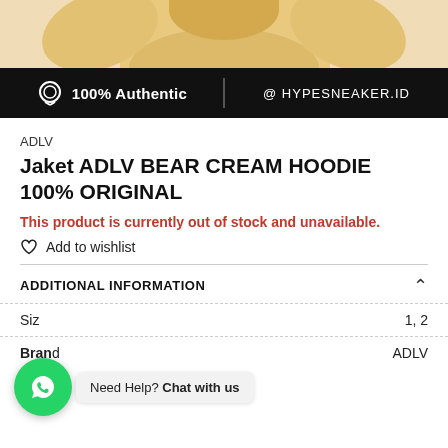[Figure (photo): Partial view of a cream/beige hoodie product image at top of page]
[Figure (infographic): Black banner with medal icon showing '100% Authentic' and '@ HYPESNEAKER.ID']
ADLV
Jaket ADLV BEAR CREAM HOODIE 100% ORIGINAL
This product is currently out of stock and unavailable.
♡ Add to wishlist
ADDITIONAL INFORMATION
| Attribute | Value |
| --- | --- |
| Size | 1, 2 |
| Brand | ADLV |
[Figure (infographic): WhatsApp chat button with green icon and 'Need Help? Chat with us' bubble]